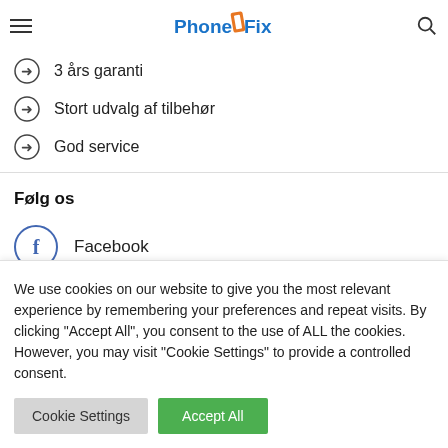PhoneFix [logo with hamburger menu and search icon]
3 års garanti
Stort udvalg af tilbehør
God service
Følg os
Facebook
Butik 1
We use cookies on our website to give you the most relevant experience by remembering your preferences and repeat visits. By clicking "Accept All", you consent to the use of ALL the cookies. However, you may visit "Cookie Settings" to provide a controlled consent.
Cookie Settings
Accept All